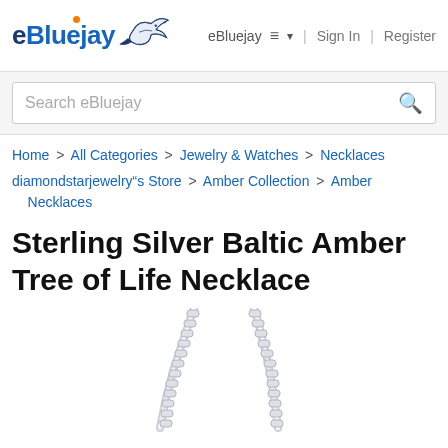eBluejay | eBluejay ≡ ▾  Sign In  Register
Search eBluejay
Home > All Categories > Jewelry & Watches > Necklaces
diamondstarjewelry"s Store > Amber Collection > Amber Necklaces
Sterling Silver Baltic Amber Tree of Life Necklace
[Figure (photo): Partial photo of a silver chain necklace showing two strands of box-link chain against a white background, the upper portion of the necklace visible.]